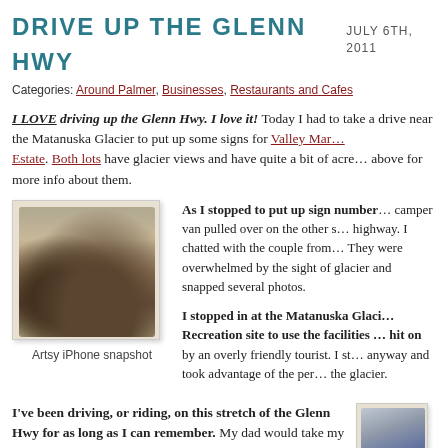DRIVE UP THE GLENN HWY   JULY 6TH, 2011
Categories: Around Palmer, Businesses, Restaurants and Cafes
I LOVE driving up the Glenn Hwy. I love it! Today I had to take a drive near the Matanuska Glacier to put up some signs for Valley Mar… Estate. Both lots have glacier views and have quite a bit of acre… above for more info about them.
[Figure (photo): Sepia-toned iPhone snapshot of a mountain landscape along the Glenn Hwy]
Artsy iPhone snapshot
As I stopped to put up sign number… camper van pulled over on the other s… highway. I chatted with the couple from… They were overwhelmed by the sight o… glacier and snapped several photos.
I stopped in at the Matanuska Glaci… Recreation site to use the facilities … hit on by an overly friendly tourist. I s… anyway and took advantage of the pe… the glacier.
I've been driving, or riding, on this stretch of the Glenn Hwy for as long as I can remember. My dad would take my family camping almost every summer up in a cabin in the tiny community …
[Figure (photo): Partially visible photo in the bottom right corner, appears to show a landscape]